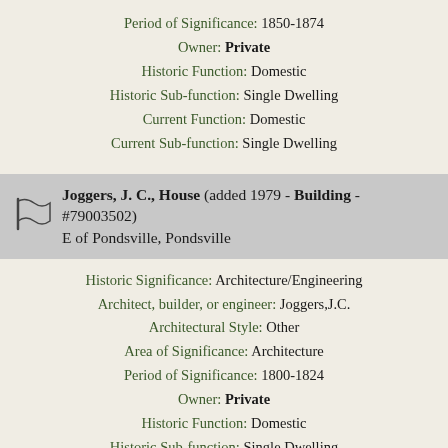Period of Significance: 1850-1874
Owner: Private
Historic Function: Domestic
Historic Sub-function: Single Dwelling
Current Function: Domestic
Current Sub-function: Single Dwelling
Joggers, J. C., House (added 1979 - Building - #79003502) E of Pondsville, Pondsville
Historic Significance: Architecture/Engineering
Architect, builder, or engineer: Joggers,J.C.
Architectural Style: Other
Area of Significance: Architecture
Period of Significance: 1800-1824
Owner: Private
Historic Function: Domestic
Historic Sub-function: Single Dwelling
Current Function: Domestic
Current Sub-function: Single Dwelling